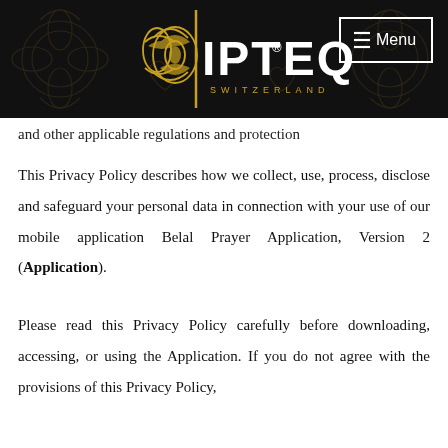[Figure (logo): IPTEQ Switzerland logo with golden ornamental design on dark background with Menu button]
and other applicable regulations and protection
This Privacy Policy describes how we collect, use, process, disclose and safeguard your personal data in connection with your use of our mobile application Belal Prayer Application, Version 2 (Application).
Please read this Privacy Policy carefully before downloading, accessing, or using the Application. If you do not agree with the provisions of this Privacy Policy,